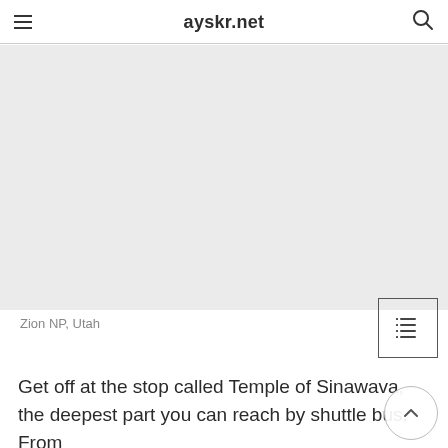ayskr.net
[Figure (photo): Photo placeholder of Zion NP, Utah — a large light gray rectangular image area]
Zion NP, Utah
Get off at the stop called Temple of Sinawava, the deepest part you can reach by shuttle bus. From